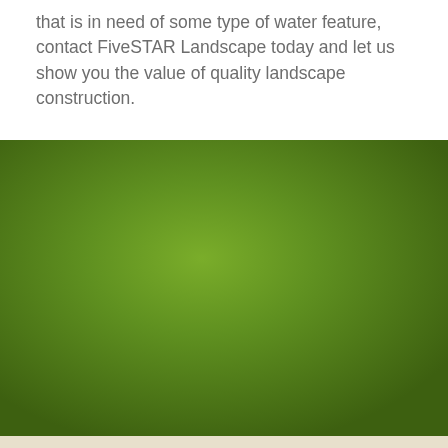that is in need of some type of water feature, contact FiveSTAR Landscape today and let us show you the value of quality landscape construction.
[Figure (photo): Large green gradient background block, dark olive-green color fading lighter toward the center, representing a landscape or decorative green panel.]